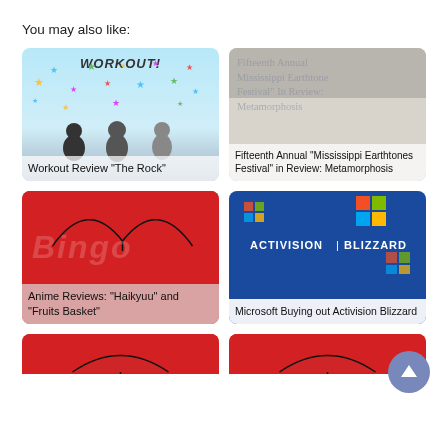You may also like:
[Figure (photo): Card thumbnail: Workout illustration with colorful stars and silhouettes of people exercising, text overlay 'Workout Review “The Rock”']
[Figure (photo): Card thumbnail: Fifteenth Annual Mississippi Earthtones Festival in Review: Metamorphosis, text overlay with title repeated]
[Figure (photo): Card thumbnail: Red background with Bingo anime illustration, text overlay 'Anime Reviews: “Haikyuu” and “Fruits Basket”']
[Figure (photo): Card thumbnail: Activision Blizzard logo on blue background with Windows logos, text overlay 'Microsoft Buying out Activision Blizzard']
[Figure (photo): Partial card at bottom left: red background with umbrella illustration]
[Figure (photo): Partial card at bottom right: red background with umbrella illustration]